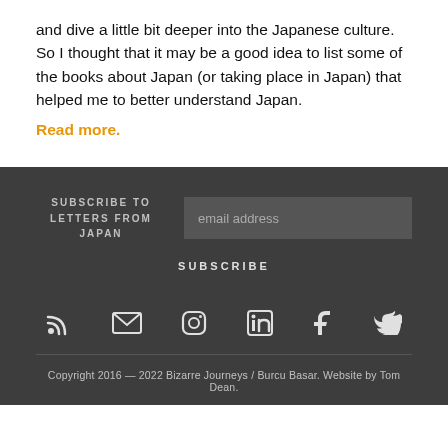and dive a little bit deeper into the Japanese culture. So I thought that it may be a good idea to list some of the books about Japan (or taking place in Japan) that helped me to better understand Japan.
Read more.
SUBSCRIBE TO LETTERS FROM JAPAN
email address
SUBSCRIBE
[Figure (infographic): Row of social media icons: RSS, email/envelope, Instagram, LinkedIn, Facebook, Twitter — white icons on dark background]
Copyright 2016 — 2022 Bizarre Journeys / Burcu Basar. Website by Tom Dean.